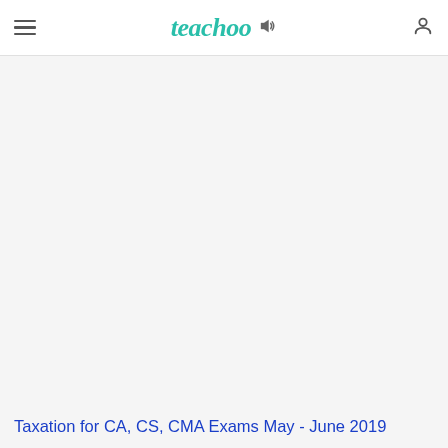teachoo — Taxation for CA, CS, CMA Exams May - June 2019
Taxation for CA, CS, CMA Exams May - June 2019